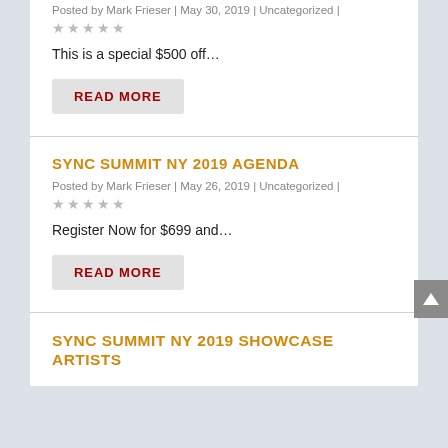Posted by Mark Frieser | May 30, 2019 | Uncategorized |
★★★★★
This is a special $500 off…
READ MORE
SYNC SUMMIT NY 2019 AGENDA
Posted by Mark Frieser | May 26, 2019 | Uncategorized |
★★★★★
Register Now for $699 and…
READ MORE
SYNC SUMMIT NY 2019 SHOWCASE ARTISTS